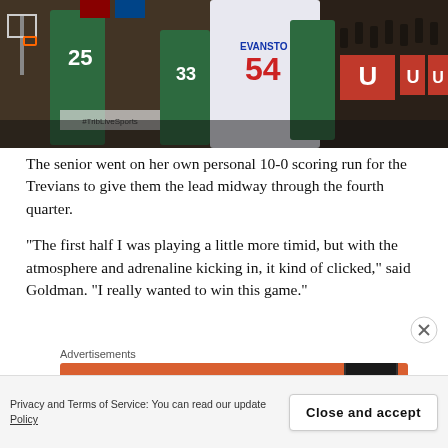[Figure (photo): Basketball game action photo: player in white jersey #54 for the Trevians drives to the basket against defenders in green jerseys, with crowd in background]
The senior went on her own personal 10-0 scoring run for the Trevians to give them the lead midway through the fourth quarter.
“The first half I was playing a little more timid, but with the atmosphere and adrenaline kicking in, it kind of clicked,” said Goldman. “I really wanted to win this game.”
Advertisements
[Figure (screenshot): Orange advertisement banner reading 'Search, browse, and' with a phone mockup on the right]
Privacy and Terms of Service: You can read our update
Policy
Close and accept